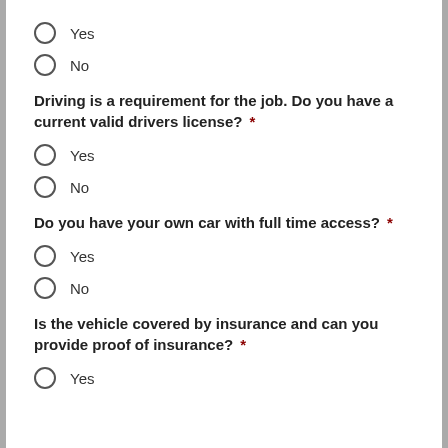Yes
No
Driving is a requirement for the job. Do you have a current valid drivers license? *
Yes
No
Do you have your own car with full time access? *
Yes
No
Is the vehicle covered by insurance and can you provide proof of insurance? *
Yes